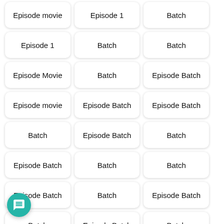Episode movie
Episode 1
Batch
Episode 1
Batch
Batch
Episode Movie
Batch
Episode Batch
Episode movie
Episode Batch
Episode Batch
Batch
Episode Batch
Batch
Episode Batch
Batch
Batch
Episode Batch
Batch
Episode Batch
Batch
Episode Batch
Batch
Episode Batch
Batch
Episode Batch
Episode Batch
Episode Batch
Episode Batch